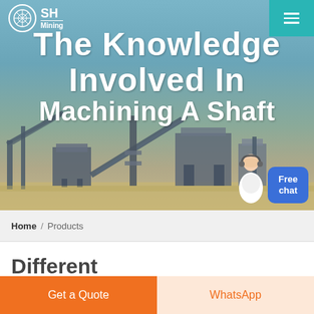[Figure (photo): Hero banner showing mining/crushing machinery at an industrial site with blue sky background. Navigation bar overlaid at top with logo and hamburger menu. Text overlay reads 'The Knowledge Involved In Machining A Shaft'. Free chat widget and customer service avatar visible at bottom right.]
SH Mining
The Knowledge Involved In Machining A Shaft
Home / Products
Different Machines To Meet All
Get a Quote
WhatsApp